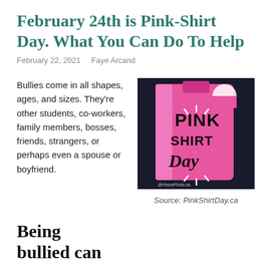February 24th is Pink-Shirt Day. What You Can Do To Help
February 22, 2021   Faye Arcand
Bullies come in all shapes, ages, and sizes. They're other students, co-workers, family members, bosses, friends, strangers, or perhaps even a spouse or boyfriend.
[Figure (photo): A pink water bottle or flask with 'PINK SHIRT Day' written on it in bold lettering, photographed against a dark background. Watermark: @VisionPhoto.ca]
Source: PinkShirtDay.ca
Being bullied can